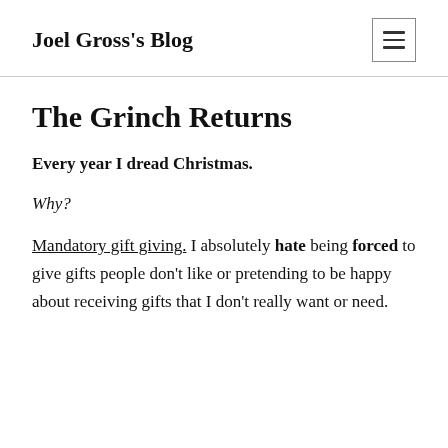Joel Gross's Blog
The Grinch Returns
Every year I dread Christmas.
Why?
Mandatory gift giving. I absolutely hate being forced to give gifts people don't like or pretending to be happy about receiving gifts that I don't really want or need.